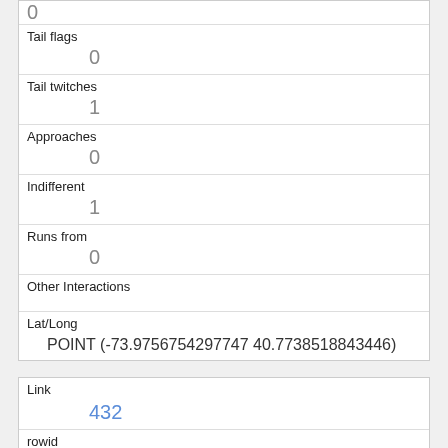|  | 0 |
| Tail flags | 0 |
| Tail twitches | 1 |
| Approaches | 0 |
| Indifferent | 1 |
| Runs from | 0 |
| Other Interactions |  |
| Lat/Long | POINT (-73.9756754297747 40.7738518843446) |
| Link | 432 |
| rowid | 432 |